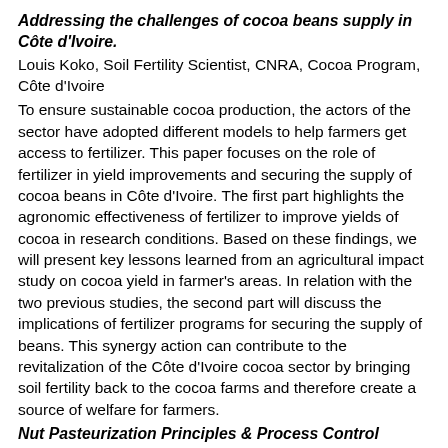Addressing the challenges of cocoa beans supply in Côte d'Ivoire.
Louis Koko, Soil Fertility Scientist, CNRA, Cocoa Program, Côte d'Ivoire
To ensure sustainable cocoa production, the actors of the sector have adopted different models to help farmers get access to fertilizer. This paper focuses on the role of fertilizer in yield improvements and securing the supply of cocoa beans in Côte d'Ivoire. The first part highlights the agronomic effectiveness of fertilizer to improve yields of cocoa in research conditions. Based on these findings, we will present key lessons learned from an agricultural impact study on cocoa yield in farmer's areas. In relation with the two previous studies, the second part will discuss the implications of fertilizer programs for securing the supply of beans. This synergy action can contribute to the revitalization of the Côte d'Ivoire cocoa sector by bringing soil fertility back to the cocoa farms and therefore create a source of welfare for farmers.
Nut Pasteurization Principles & Process Control Measures for Achieving High Food Safety Standards
Mark A. Kline, Staff Scientist, The Hershey Company